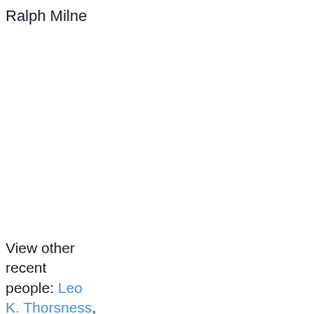Ralph Milne
View other recent people: Leo K. Thorsness, Leo Th…